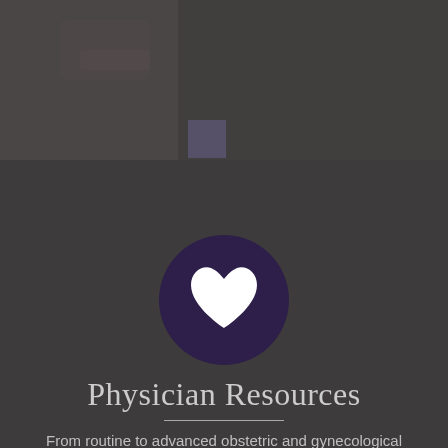[Figure (photo): Background photo of medical/clinical setting (hands, medical environment), with dark overlay covering the page. A small dark purple square UI element is visible in the upper center area.]
[Figure (illustration): Dark purple circle icon with a white heart shape in the center, centered on the page.]
Physician Resources
From routine to advanced obstetric and gynecological